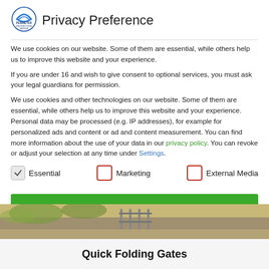Privacy Preference
We use cookies on our website. Some of them are essential, while others help us to improve this website and your experience.
If you are under 16 and wish to give consent to optional services, you must ask your legal guardians for permission.
We use cookies and other technologies on our website. Some of them are essential, while others help us to improve this website and your experience. Personal data may be processed (e.g. IP addresses), for example for personalized ads and content or ad and content measurement. You can find more information about the use of your data in our privacy policy. You can revoke or adjust your selection at any time under Settings.
Essential
Marketing
External Media
[Figure (photo): Outdoor scene with gate/fence visible]
Quick Folding Gates